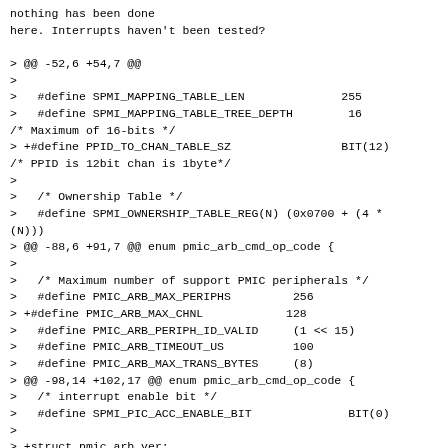nothing has been done
here. Interrupts haven't been tested?

> @@ -52,6 +54,7 @@
>
>   #define SPMI_MAPPING_TABLE_LEN              255
>   #define SPMI_MAPPING_TABLE_TREE_DEPTH        16
/* Maximum of 16-bits */
> +#define PPID_TO_CHAN_TABLE_SZ                BIT(12)
/* PPID is 12bit chan is 1byte*/
>
>   /* Ownership Table */
>   #define SPMI_OWNERSHIP_TABLE_REG(N) (0x0700 + (4 *
(N)))
> @@ -88,6 +91,7 @@ enum pmic_arb_cmd_op_code {
>
>   /* Maximum number of support PMIC peripherals */
>   #define PMIC_ARB_MAX_PERIPHS         256
> +#define PMIC_ARB_MAX_CHNL            128
>   #define PMIC_ARB_PERIPH_ID_VALID     (1 << 15)
>   #define PMIC_ARB_TIMEOUT_US          100
>   #define PMIC_ARB_MAX_TRANS_BYTES     (8)
> @@ -98,14 +102,17 @@ enum pmic_arb_cmd_op_code {
>   /* interrupt enable bit */
>   #define SPMI_PIC_ACC_ENABLE_BIT              BIT(0)
>
> +struct pmic_arb_ver;
> +
>   /**
>    * spmi_pmic_arb_dev - SPMI PMIC Arbiter object
>    *